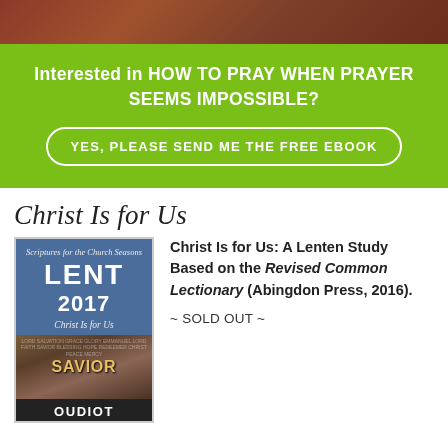[Figure (photo): Decorative photo strip at top of page showing reddish-brown rocky/desert landscape]
Interested in HOW TO PRAY WHEN PRAYER SEEMS IMPOSSIBLE?
YES, PLEASE SEND ME THE FREE EBOOK
Christ Is for Us
[Figure (photo): Book cover: Scriptures for the Church Seasons, LENT 2017, Christ Is for Us, with SAVIOR word art cross image and OUDIOT text at bottom, blue background]
Christ Is for Us: A Lenten Study Based on the Revised Common Lectionary (Abingdon Press, 2016).
~ SOLD OUT ~